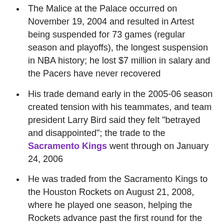The Malice at the Palace occurred on November 19, 2004 and resulted in Artest being suspended for 73 games (regular season and playoffs), the longest suspension in NBA history; he lost $7 million in salary and the Pacers have never recovered
His trade demand early in the 2005-06 season created tension with his teammates, and team president Larry Bird said they felt "betrayed and disappointed"; the trade to the Sacramento Kings went through on January 24, 2006
He was traded from the Sacramento Kings to the Houston Rockets on August 21, 2008, where he played one season, helping the Rockets advance past the first round for the first time in 11 years